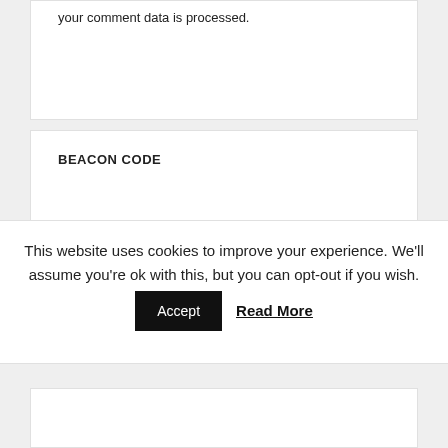your comment data is processed.
BEACON CODE
This website uses cookies to improve your experience. We'll assume you're ok with this, but you can opt-out if you wish.  Accept  Read More